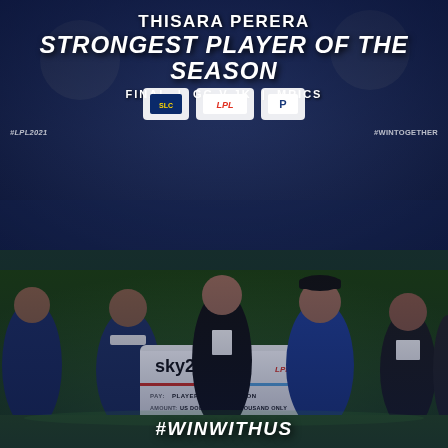THISARA PERERA
STRONGEST PLAYER OF THE SEASON
FINAL | GG V JK | MRICS
[Figure (photo): Cricket award ceremony on pitch at night: several men on a cricket ground, one holding a large sponsor cheque from sky247.net with LPL logo, awarded to Player of the Season for USD 5,000. Thisara Perera in blue cricket kit receives the award.]
#LPL2021
#WINTOGETHER
Pay: PLAYER OF THE SEASON
Amount: US DOLLARS FIVE THOUSAND ONLY
USD 5,000
#WINWITHUS